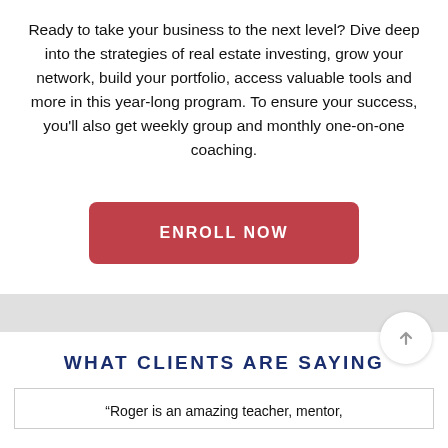Ready to take your business to the next level? Dive deep into the strategies of real estate investing, grow your network, build your portfolio, access valuable tools and more in this year-long program. To ensure your success, you'll also get weekly group and monthly one-on-one coaching.
[Figure (other): Red rounded rectangle button with white uppercase text reading 'ENROLL NOW']
WHAT CLIENTS ARE SAYING
“Roger is an amazing teacher, mentor,